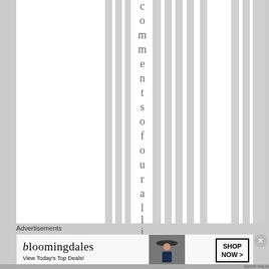[Figure (screenshot): A webpage layout showing alternating white and gray vertical column strips. A vertical text reading 'comments of our allie' is visible on the right side, rendered with one letter per line. The page appears to be a website with a striped column background pattern.]
Advertisements
[Figure (screenshot): Bloomingdales advertisement banner showing the Bloomingdales logo, text 'View Today's Top Deals!', an image of a woman wearing a large brimmed hat, and a 'SHOP NOW >' button.]